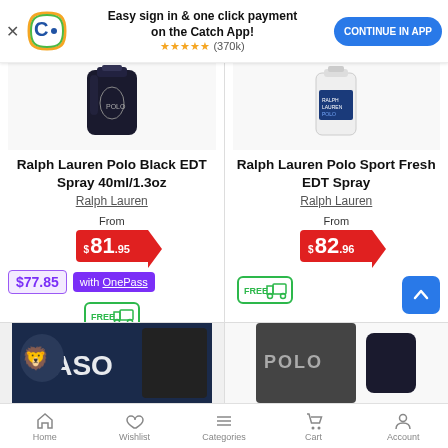[Figure (screenshot): Catch app banner with logo, text 'Easy sign in & one click payment on the Catch App!', 5-star rating (370k), and CONTINUE IN APP button]
[Figure (photo): Ralph Lauren Polo Black EDT Spray 40ml/1.3oz product image - dark bottle]
Ralph Lauren Polo Black EDT Spray 40ml/1.3oz
Ralph Lauren
From
$81.95
$77.85 with OnePass
[Figure (illustration): FREE shipping truck icon]
[Figure (photo): Ralph Lauren Polo Sport Fresh EDT Spray product image - white bottle]
Ralph Lauren Polo Sport Fresh EDT Spray
Ralph Lauren
From
$82.96
[Figure (illustration): FREE shipping truck icon]
[Figure (photo): Partial product images in second row - Blaso and Polo products]
Home  Wishlist  Categories  Cart  Account